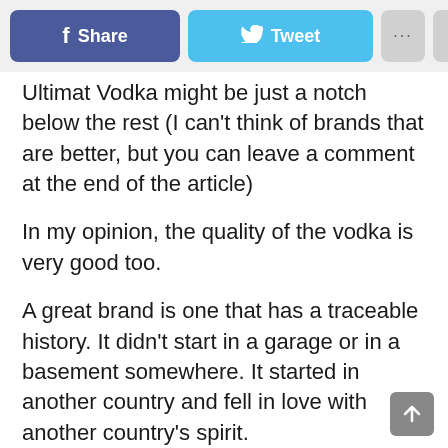[Figure (screenshot): Social sharing toolbar with Facebook Share button (blue), Twitter Tweet button (light blue), a dots/more button (gray), and a close X button (gray)]
Ultimat Vodka might be just a notch below the rest (I can't think of brands that are better, but you can leave a comment at the end of the article)
In my opinion, the quality of the vodka is very good too.
A great brand is one that has a traceable history. It didn't start in a garage or in a basement somewhere. It started in another country and fell in love with another country's spirit.
Ultra Vodka was developed in a Russian Potstill distillery in the 90s. The founder, Andrei Golberg followed the recipe of Russian Potstill Vodka. But it